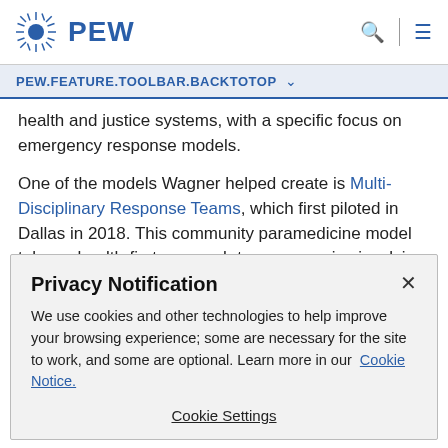[Figure (logo): Pew Research logo: sun/starburst icon followed by bold blue PEW text, with search and menu icons on the right]
PEW.FEATURE.TOOLBAR.BACKTOTOP
health and justice systems, with a specific focus on emergency response models.
One of the models Wagner helped create is Multi-Disciplinary Response Teams, which first piloted in Dallas in 2018. This community paramedicine model takes a health-first approach to emergencies involving people with mental
Privacy Notification
We use cookies and other technologies to help improve your browsing experience; some are necessary for the site to work, and some are optional. Learn more in our Cookie Notice.
Cookie Settings